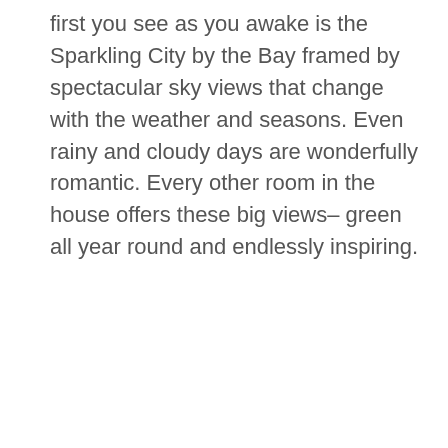first you see as you awake is the Sparkling City by the Bay framed by spectacular sky views that change with the weather and seasons. Even rainy and cloudy days are wonderfully romantic. Every other room in the house offers these big views– green all year round and endlessly inspiring.